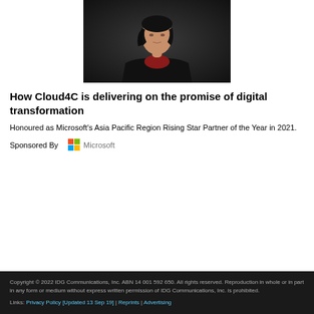[Figure (photo): Portrait photograph of an Asian woman in a dark blazer against a dark background]
How Cloud4C is delivering on the promise of digital transformation
Honoured as Microsoft's Asia Pacific Region Rising Star Partner of the Year in 2021.
Sponsored By  Microsoft
Copyright © 2022 IDG Communications, Inc. ABN 14 001 592 650. All rights reserved. Reproduction in whole or in part in any form or medium without express written permission of IDG Communications, Inc. is prohibited. Links: Privacy Policy [Updated 13 Sep 19] | Reprints | Advertising